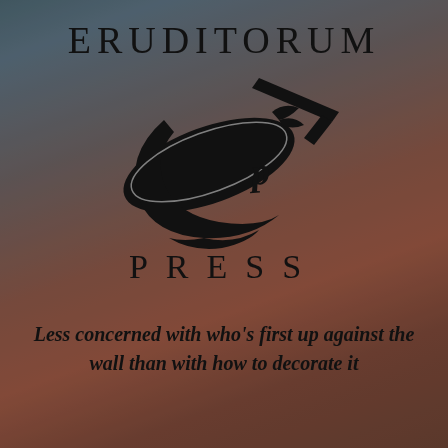[Figure (logo): Eruditorum Press logo with stylized 'EP' monogram and text]
Less concerned with who's first up against the wall than with how to decorate it